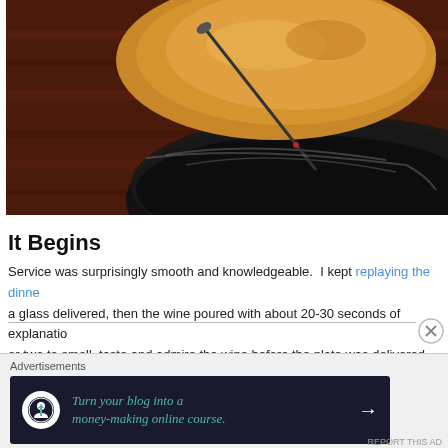[Figure (photo): Close-up photo of food (bread/pastry) in a dark bowl or pan on a wooden surface with dark liquid (sauce or wine)]
It Begins
Service was surprisingly smooth and knowledgeable.  I kept replaying the dinner… a glass delivered, then the wine poured with about 20-30 seconds of explanation, or two to smell, taste and admire the wine before the plate was delivered – aga… like that for about two and a half hours.
Advertisements
[Figure (infographic): Advertisement banner: dark background with circular icon and text 'Turn your blog into a money-making online course.' with arrow]